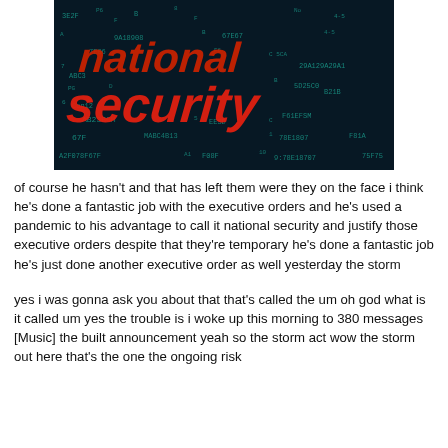[Figure (photo): Digital-themed image with red text reading 'national security' on a dark teal/blue background overlaid with hexadecimal code characters and numbers in cyan/white.]
of course he hasn't and that has left them were they on the face i think he's done a fantastic job with the executive orders and he's used a pandemic to his advantage to call it national security and justify those executive orders despite that they're temporary he's done a fantastic job he's just done another executive order as well yesterday the storm
yes i was gonna ask you about that that's called the um oh god what is it called um yes the trouble is i woke up this morning to 380 messages [Music] the built announcement yeah so the storm act wow the storm out here that's the one the ongoing risk